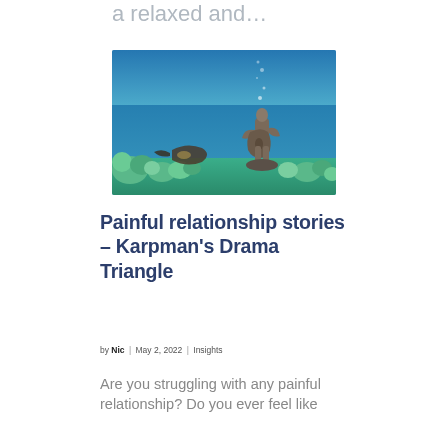a relaxed and…
[Figure (photo): Underwater photograph showing a sculpture of a person playing a cello, surrounded by coral reef and blue ocean water, with bubbles rising toward the surface.]
Painful relationship stories – Karpman's Drama Triangle
by Nic | May 2, 2022 | Insights
Are you struggling with any painful relationship? Do you ever feel like